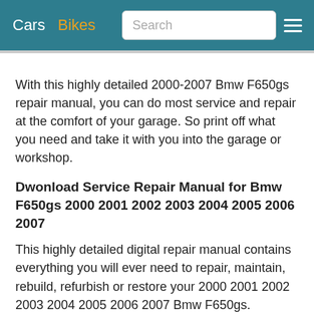Cars  Bikes  Search
With this highly detailed 2000-2007 Bmw F650gs repair manual, you can do most service and repair at the comfort of your garage. So print off what you need and take it with you into the garage or workshop.
Dwonload Service Repair Manual for Bmw F650gs 2000 2001 2002 2003 2004 2005 2006 2007
This highly detailed digital repair manual contains everything you will ever need to repair, maintain, rebuild, refurbish or restore your 2000 2001 2002 2003 2004 2005 2006 2007 Bmw F650gs.
This is the same information the dealer technicians and mechanics use to diagnose and repair your bike. With this professional quality highly detailed service repair manual, you will be able to work on your bike